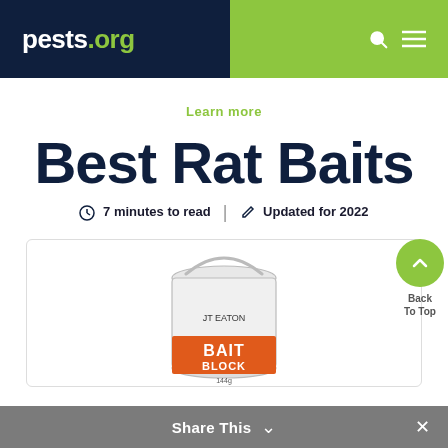pests.org
Learn more
Best Rat Baits
7 minutes to read | Updated for 2022
[Figure (photo): White bucket of rat bait product labeled 'Bait Block' by JT Eaton]
Back To Top
Share This